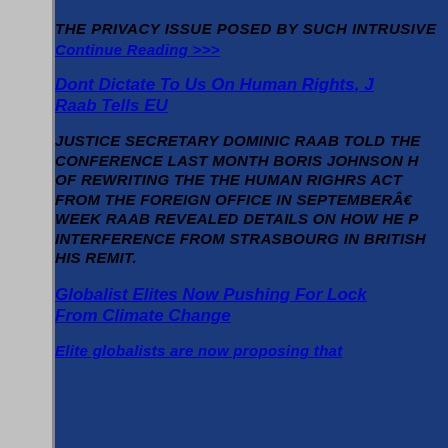THE PRIVACY ISSUE POSED BY SUCH INTRUSIVE
Continue reading >>>
Dont Dictate To Us On Human Rights, J Raab Tells EU
Justice Secretary Dominic Raab told the Conference last month Boris Johnson had spoken of rewriting the The Human Righrs Act from the Foreign Office in September. This week Raab revealed details on how he plans interference from Strasbourg in British his remit.
Globalist Elites Now Pushing For Lock From Climate Change
Elite globalists are now proposing that